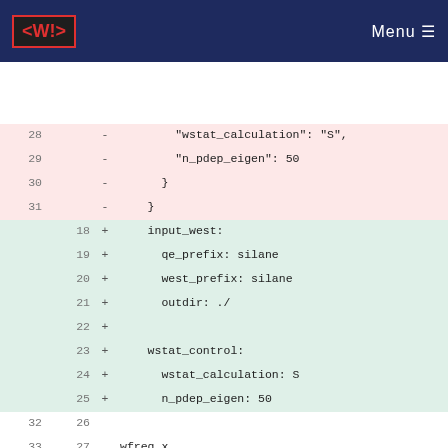<W!> Menu
Diff view showing code changes to a YAML/RST configuration file for wfreq.x. Deleted lines (28-31) show JSON-style wstat_calculation and n_pdep_eigen config. Added lines (18-25) show YAML input_west block with qe_prefix, west_prefix, outdir, wstat_control. Context lines show wfreq.x heading, hunk header @@ -37,24 +31,21 @@ This is a typical input for ``wfreq.x``., and .. code-block:: bash.